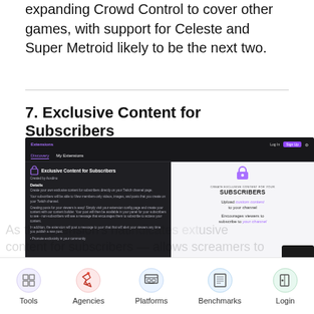expanding Crowd Control to cover other games, with support for Celeste and Super Metroid likely to be the next two.
7. Exclusive Content for Subscribers
[Figure (screenshot): A screenshot of a Twitch Extensions page showing the 'Exclusive Content for Subscribers' extension. The interface has a dark theme with purple accents. The left side shows extension details and description text. The right side shows a promotional graphic with a padlock icon, the text 'CREATE EXCLUSIVE CONTENT FOR YOUR SUBSCRIBERS', and bullet points: 'Upload custom content to your channel' and 'Encourages viewers to subscribe to your channel'.]
[Figure (infographic): Bottom navigation bar with five items: Tools (grid icon), Agencies (rocket icon), Platforms (layout icon), Benchmarks (document icon), Login (door icon). Behind or overlapping the nav bar is partially visible body text reading 'As the extension's native indicat... allows screamers to content for subscribers — allows screamers to'.]